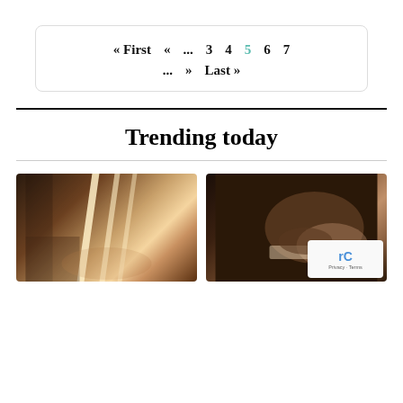« First  «  ...  3  4  5  6  7  ...  »  Last »
Trending today
[Figure (photo): Bedroom scene with light beams streaming through window blinds onto a bed and books]
[Figure (photo): Person reading or writing in a book, dark moody lighting, close-up of hands]